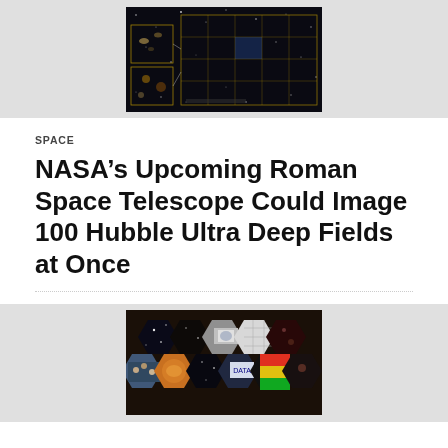[Figure (photo): Hubble Ultra Deep Field image showing a dark sky with galaxies and a grid overlay diagram, against a light gray background]
SPACE
NASA’s Upcoming Roman Space Telescope Could Image 100 Hubble Ultra Deep Fields at Once
[Figure (photo): Hexagonal mosaic of images showing various space scenes including galaxies, telescope components, and colorful astronomical data]